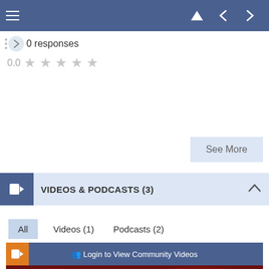Navigation bar with menu, back, and forward controls
0 responses
0.0 ★ ★ ★ ★ ★
See More
VIDEOS & PODCASTS (3)
All   Videos (1)   Podcasts (2)
[Figure (screenshot): Login to View Community Videos bar above a surgical video thumbnail showing red tissue/organs]
Login to View Community Videos